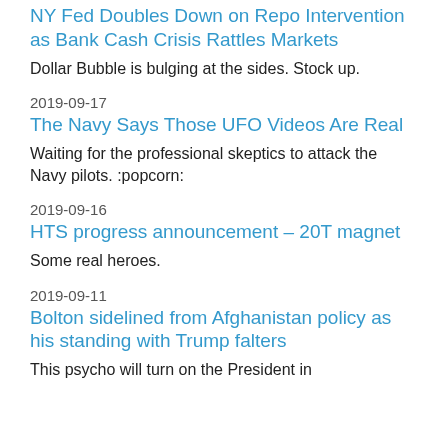NY Fed Doubles Down on Repo Intervention as Bank Cash Crisis Rattles Markets
Dollar Bubble is bulging at the sides. Stock up.
2019-09-17
The Navy Says Those UFO Videos Are Real
Waiting for the professional skeptics to attack the Navy pilots. :popcorn:
2019-09-16
HTS progress announcement – 20T magnet
Some real heroes.
2019-09-11
Bolton sidelined from Afghanistan policy as his standing with Trump falters
This psycho will turn on the President in